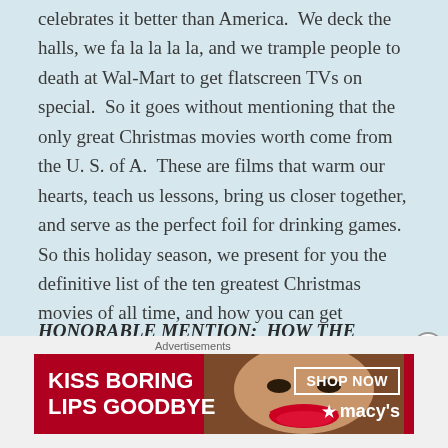celebrates it better than America.  We deck the halls, we fa la la la la, and we trample people to death at Wal-Mart to get flatscreen TVs on special.  So it goes without mentioning that the only great Christmas movies worth come from the U. S. of A.  These are films that warm our hearts, teach us lessons, bring us closer together, and serve as the perfect foil for drinking games.  So this holiday season, we present for you the definitive list of the ten greatest Christmas movies of all time, and how you can get dangerously drunk while watching them.
HONORABLE MENTION:  HOW THE GRINCH STOLE CHRISTMAS (1966)
[Figure (other): Advertisement banner for Macy's: 'KISS BORING LIPS GOODBYE' with a woman's face and red lips, SHOP NOW button and Macy's logo]